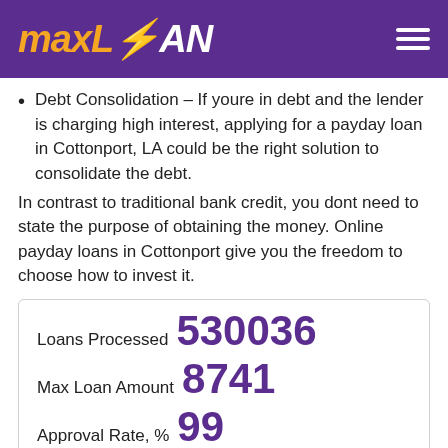maxLOAN
Debt Consolidation – If youre in debt and the lender is charging high interest, applying for a payday loan in Cottonport, LA could be the right solution to consolidate the debt.
In contrast to traditional bank credit, you dont need to state the purpose of obtaining the money. Online payday loans in Cottonport give you the freedom to choose how to invest it.
| Metric | Value |
| --- | --- |
| Loans Processed | 530036 |
| Max Loan Amount | 8741 |
| Approval Rate, % | 99 |
|  | 119 |